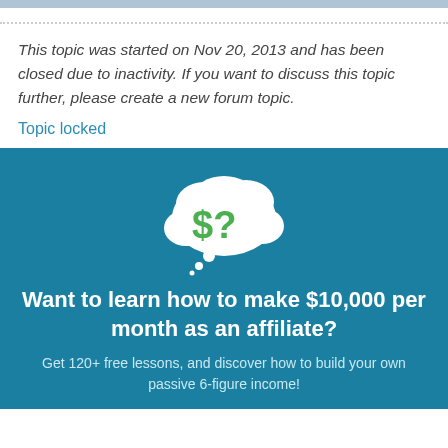This topic was started on Nov 20, 2013 and has been closed due to inactivity. If you want to discuss this topic further, please create a new forum topic.
Topic locked
[Figure (illustration): Thought bubble icon with green dollar sign and question mark on teal/blue background]
Want to learn how to make $10,000 per month as an affiliate?
Get 120+ free lessons, and discover how to build your own passive 6-figure income!